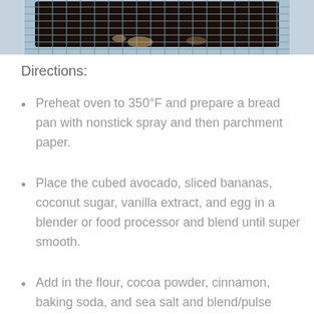[Figure (photo): Photo of dark chocolate baked bread/cake on a wire cooling rack, viewed from above, with a blue-gray background]
Directions:
Preheat oven to 350°F and prepare a bread pan with nonstick spray and then parchment paper.
Place the cubed avocado, sliced bananas, coconut sugar, vanilla extract, and egg in a blender or food processor and blend until super smooth.
Add in the flour, cocoa powder, cinnamon, baking soda, and sea salt and blend/pulse slightly until combine. Shouldn't take more